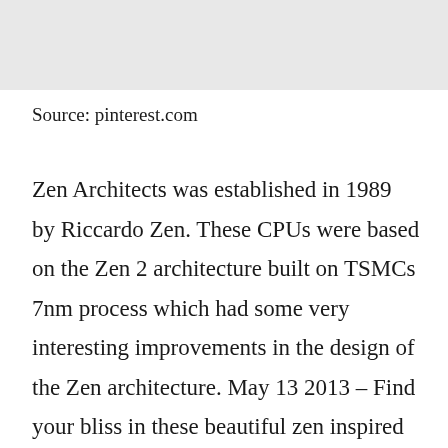[Figure (photo): Gray placeholder image at the top of the page]
Source: pinterest.com
Zen Architects was established in 1989 by Riccardo Zen. These CPUs were based on the Zen 2 architecture built on TSMCs 7nm process which had some very interesting improvements in the design of the Zen architecture. May 13 2013 – Find your bliss in these beautiful zen inspired interiors and architectural environments. Zen 2